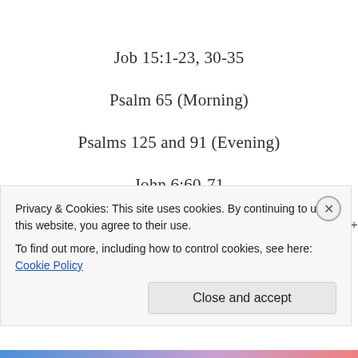Job 15:1-23, 30-35
Psalm 65 (Morning)
Psalms 125 and 91 (Evening)
John 6:60-71
+++++++++++++++++++++++++++++++++++++++++++++++++
+++++++++++++
Privacy & Cookies: This site uses cookies. By continuing to use this website, you agree to their use.
To find out more, including how to control cookies, see here: Cookie Policy
Close and accept